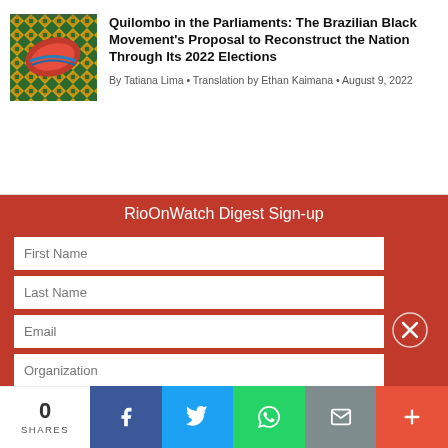[Figure (illustration): Thumbnail image with colorful woven pattern background (green, yellow, red diamond shapes) and a red curved shape in the center]
Quilombo in the Parliaments: The Brazilian Black Movement's Proposal to Reconstruct the Nation Through Its 2022 Elections
By Tatiana Lima • Translation by Ethan Kaimana • August 9, 2022
RioOnWatch Digest Sign-up
First Name
Last Name
Email
Organization
Country
0 SHARES